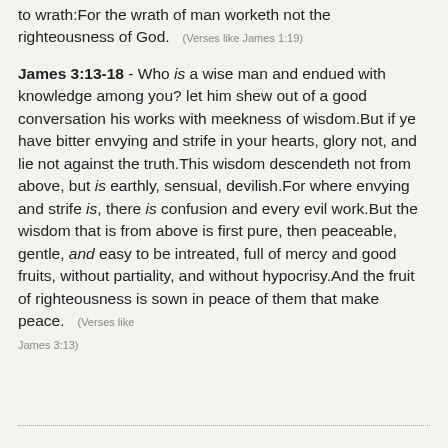to wrath:For the wrath of man worketh not the righteousness of God. (Verses like James 1:19)
James 3:13-18 - Who is a wise man and endued with knowledge among you? let him shew out of a good conversation his works with meekness of wisdom.But if ye have bitter envying and strife in your hearts, glory not, and lie not against the truth.This wisdom descendeth not from above, but is earthly, sensual, devilish.For where envying and strife is, there is confusion and every evil work.But the wisdom that is from above is first pure, then peaceable, gentle, and easy to be intreated, full of mercy and good fruits, without partiality, and without hypocrisy.And the fruit of righteousness is sown in peace of them that make peace. (Verses like James 3:13)
...